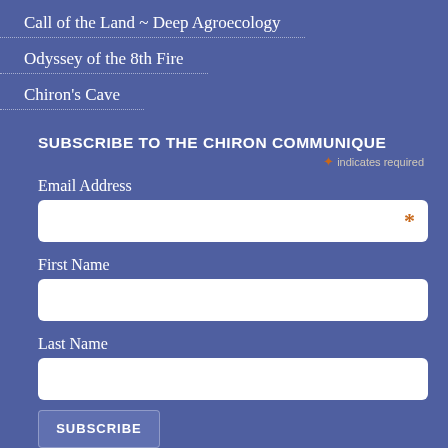Call of the Land ~ Deep Agroecology
Odyssey of the 8th Fire
Chiron's Cave
SUBSCRIBE TO THE CHIRON COMMUNIQUE
* indicates required
Email Address
First Name
Last Name
SUBSCRIBE